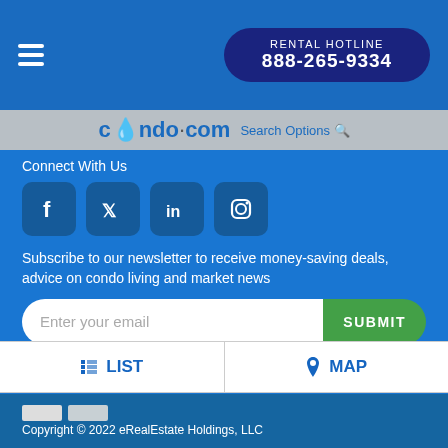RENTAL HOTLINE 888-265-9334
[Figure (logo): condo.com logo with water drop on letter o]
Search Options
Connect With Us
[Figure (infographic): Social media icons: Facebook, Twitter, LinkedIn, Instagram]
Subscribe to our newsletter to receive money-saving deals, advice on condo living and market news
Enter your email
SUBMIT
Free Buyer's Guide
LIST
MAP
Copyright © 2022 eRealEstate Holdings, LLC